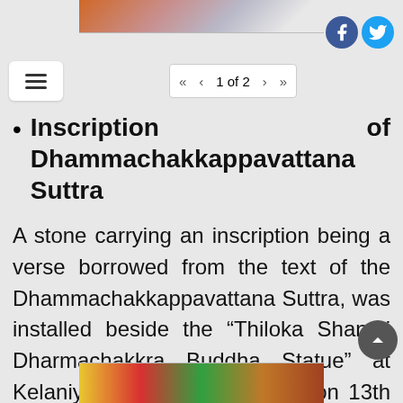[Figure (photo): Top image strip showing people in colored clothing]
[Figure (logo): Facebook and Twitter social media icons]
Navigation bar with hamburger menu and pagination: 1 of 2
Inscription of Dhammachakkappavattana Suttra
A stone carrying an inscription being a verse borrowed from the text of the Dhammachakkappavattana Suttra, was installed beside the “Thiloka Shanthi Dharmachakkra Buddha Statue” at Kelaniya, Manelwatta Temple, on 13th May 2017, as a token of remembrance of the late Dr. Mrs. Milina Sumathipala.
[Figure (photo): Bottom image strip showing outdoor scene with colorful decorations]